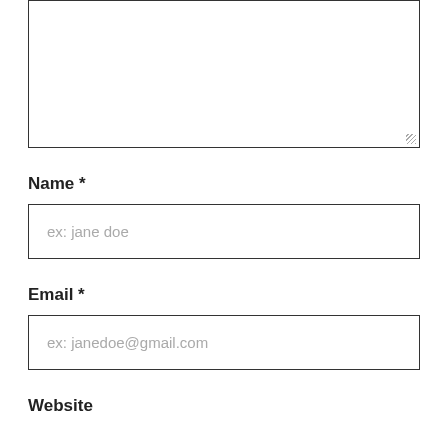[Figure (other): Large empty textarea input box with resize handle in bottom-right corner]
Name *
[Figure (other): Text input field with placeholder text 'ex: jane doe']
Email *
[Figure (other): Text input field with placeholder text 'ex: janedoe@gmail.com']
Website